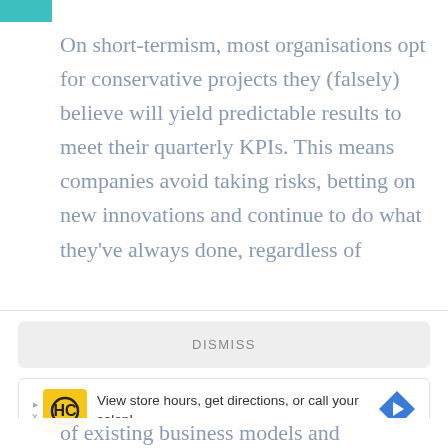On short-termism, most organisations opt for conservative projects they (falsely) believe will yield predictable results to meet their quarterly KPIs. This means companies avoid taking risks, betting on new innovations and continue to do what they've always done, regardless of
[Figure (screenshot): A UI overlay with a DISMISS button and an advertisement: 'View store hours, get directions, or call your salon!' with a yellow HC logo icon and a blue diamond navigation arrow icon.]
of existing business models and